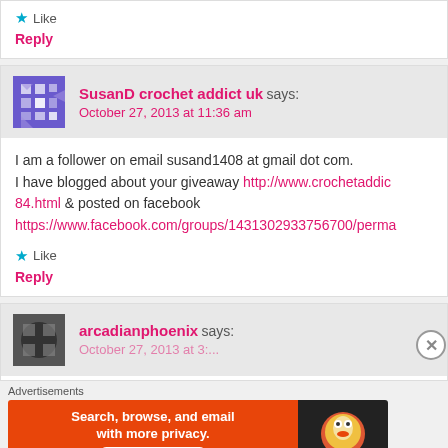Like
Reply
SusanD crochet addict uk says: October 27, 2013 at 11:36 am
I am a follower on email susand1408 at gmail dot com. I have blogged about your giveaway http://www.crochetaddic 84.html & posted on facebook https://www.facebook.com/groups/1431302933756700/perma
Like
Reply
arcadianphoenix says:
Advertisements
[Figure (infographic): DuckDuckGo advertisement banner with orange background: 'Search, browse, and email with more privacy. All in One Free App' with DuckDuckGo logo on dark background]